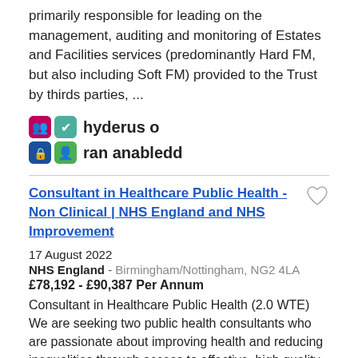primarily responsible for leading on the management, auditing and monitoring of Estates and Facilities services (predominantly Hard FM, but also including Soft FM) provided to the Trust by thirds parties, ...
[Figure (logo): Four colored badge icons (pink/people, teal/checkmark, blue/lock, green/person) with Welsh text 'hyderus o ran anabledd']
Consultant in Healthcare Public Health - Non Clinical | NHS England and NHS Improvement
17 August 2022
NHS England - Birmingham/Nottingham, NG2 4LA
£78,192 - £90,387 Per Annum
Consultant in Healthcare Public Health (2.0 WTE) We are seeking two public health consultants who are passionate about improving health and reducing inequalities through access to effective, high quality services. The two roles will work across the Midlands, ...
[Figure (logo): Two colored badge icons (pink/people, teal/checkmark) with partial Welsh text 'hyderus o']